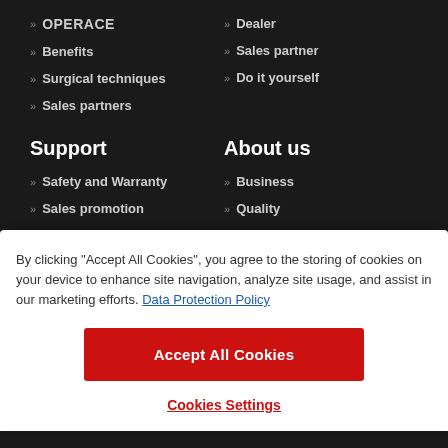» OPERACE
» Dealer
» Benefits
» Sales partner
» Surgical techniques
» Do it yourself
» Sales partners
Support
About us
» Safety and Warranty
» Business
» Sales promotion
» Quality
By clicking "Accept All Cookies", you agree to the storing of cookies on your device to enhance site navigation, analyze site usage, and assist in our marketing efforts. Data Protection Policy
Accept All Cookies
Cookies Settings